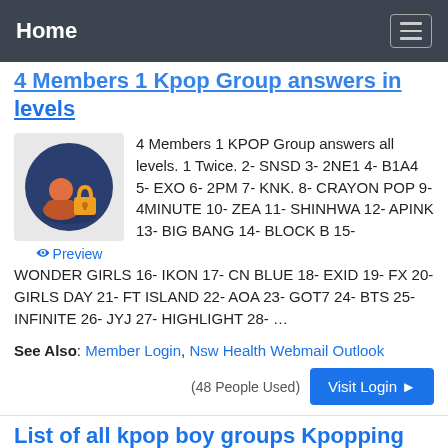Home
4 Members 1 Kpop Group answers all levels
[Figure (illustration): Icon showing a person with a padlock, representing a login/member icon]
Preview
4 Members 1 KPOP Group answers all levels. 1 Twice. 2- SNSD 3- 2NE1 4- B1A4 5- EXO 6- 2PM 7- KNK. 8- CRAYON POP 9- 4MINUTE 10- ZEA 11- SHINHWA 12- APINK 13- BIG BANG 14- BLOCK B 15- WONDER GIRLS 16- IKON 17- CN BLUE 18- EXID 19- FX 20- GIRLS DAY 21- FT ISLAND 22- AOA 23- GOT7 24- BTS 25- INFINITE 26- JYJ 27- HIGHLIGHT 28- …
See Also: Member Login, Nsw Health Webmail Outlook
(48 People Used)
Visit Login
List of all kpop boy groups Kpopping